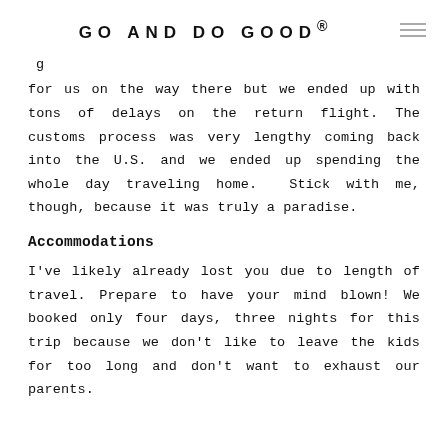GO AND DO GOOD®
for us on the way there but we ended up with tons of delays on the return flight. The customs process was very lengthy coming back into the U.S. and we ended up spending the whole day traveling home. Stick with me, though, because it was truly a paradise.
Accommodations
I've likely already lost you due to length of travel. Prepare to have your mind blown! We booked only four days, three nights for this trip because we don't like to leave the kids for too long and don't want to exhaust our parents.